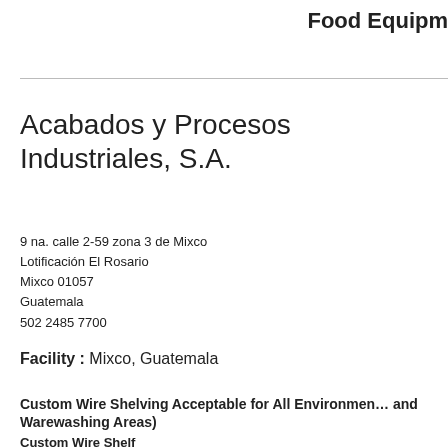Food Equipm…
Acabados y Procesos Industriales, S.A.
9 na. calle 2-59 zona 3 de Mixco
Lotificación El Rosario
Mixco 01057
Guatemala
502 2485 7700
Facility : Mixco, Guatemala
Custom Wire Shelving Acceptable for All Environments (including Freezers, Coolers, and Warewashing Areas)
Custom Wire Shelf